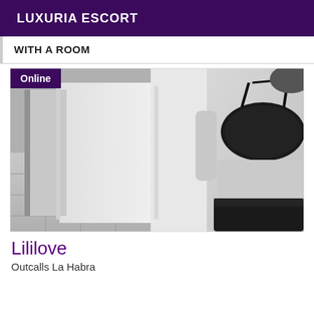LUXURIA ESCORT
WITH A ROOM
[Figure (photo): Black and white photo of a woman in black lace lingerie, taking a mirror selfie in a room with tiled floor. An 'Online' badge appears in the top-left corner.]
Lililove
Outcalls La Habra